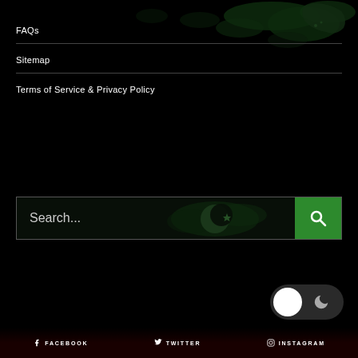[Figure (illustration): Dark world map background at top of page with green-tinted continents on black]
FAQs
Sitemap
Terms of Service & Privacy Policy
[Figure (screenshot): Search bar with placeholder text 'Search...' and dark map/crescent moon overlay, green search button with magnifying glass icon]
[Figure (illustration): Dark/light mode toggle switch with white circle and moon icon, set to dark mode]
FACEBOOK   TWITTER   INSTAGRAM